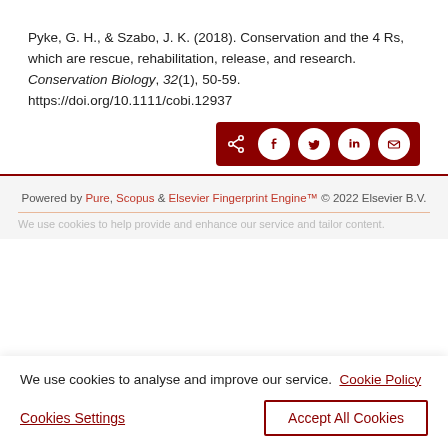Pyke, G. H., & Szabo, J. K. (2018). Conservation and the 4 Rs, which are rescue, rehabilitation, release, and research. Conservation Biology, 32(1), 50-59. https://doi.org/10.1111/cobi.12937
[Figure (other): Social share button bar with dark red background containing share, Facebook, Twitter, LinkedIn, and email icons]
Powered by Pure, Scopus & Elsevier Fingerprint Engine™ © 2022 Elsevier B.V.
We use cookies to help provide and enhance our service and tailor content.
We use cookies to analyse and improve our service. Cookie Policy
Cookies Settings
Accept All Cookies